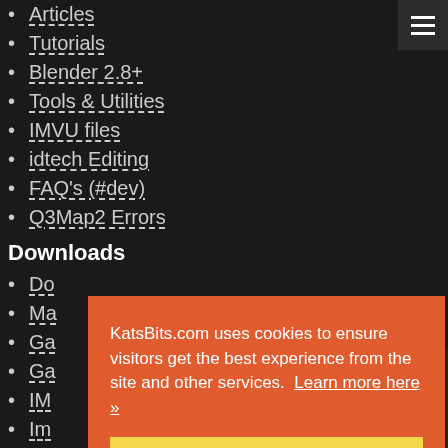Articles
Tutorials
Blender 2.8+
Tools & Utilities
IMVU files
idtech Editing
FAQ's (#dev)
Q3Map2 Errors
Downloads
Downloads
Maps
Game assets
Game addons
IMVU
Imported
Community
Blog
Forum
KatsBits.com uses cookies to ensure visitors get the best experience from the site and other services. Learn more here »
Got it. Thanks!